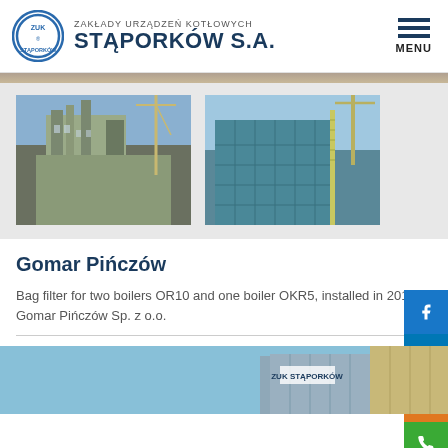ZAKŁADY URZĄDZEŃ KOTŁOWYCH STĄPORKÓW S.A. — MENU
[Figure (photo): Two industrial building photos side by side on gray background showing tall filter/boiler structures]
Gomar Pińczów
Bag filter for two boilers OR10 and one boiler OKR5, installed in 2016 for Gomar Pińczów Sp. z o.o.
[Figure (photo): Bottom photo of industrial building/factory exterior with blue sky]